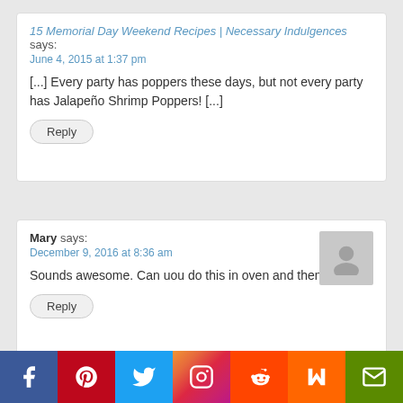15 Memorial Day Weekend Recipes | Necessary Indulgences says:
June 4, 2015 at 1:37 pm
[...] Every party has poppers these days, but not every party has Jalapeño Shrimp Poppers! [...]
Mary says:
December 9, 2016 at 8:36 am
Sounds awesome. Can uou do this in oven and then grill it